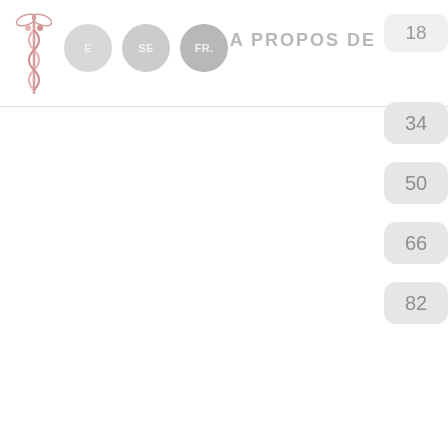[Figure (logo): Medical caduceus logo with red/pink snake symbol on left side of header]
A PROPOS DE
18
34
50
66
82